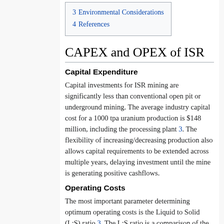3  Environmental Considerations
4  References
CAPEX and OPEX of ISR
Capital Expenditure
Capital investments for ISR mining are significantly less than conventional open pit or underground mining. The average industry capital cost for a 1000 tpa uranium production is $148 million, including the processing plant 3. The flexibility of increasing/decreasing production also allows capital requirements to be extended across multiple years, delaying investment until the mine is generating positive cashflows.
Operating Costs
The most important parameter determining optimum operating costs is the Liquid to Solid (L:S) ratio 3. The L:S ratio is a comparison of the volume of solutions passed through a volume of rock. A higher L:S ratio results in increased operating costs due to the higher